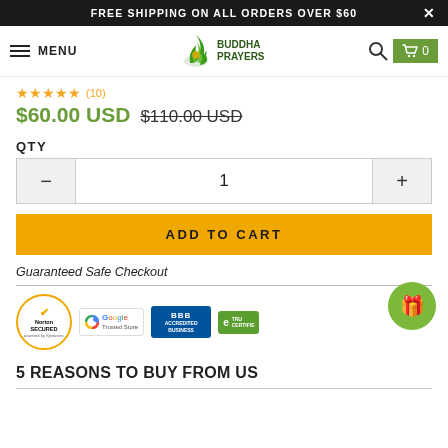FREE SHIPPING ON ALL ORDERS OVER $60
[Figure (logo): Buddha Prayers logo with flame icon and cart/search navigation]
★★★★★ (10)
$60.00 USD $110.00 USD (strikethrough)
QTY
1
ADD TO CART
Guaranteed Safe Checkout
[Figure (infographic): Trust badges: Norton Secured powered by Symantec, Google Trusted Store, BBB Accredited Business, eTrust Certified]
5 REASONS TO BUY FROM US